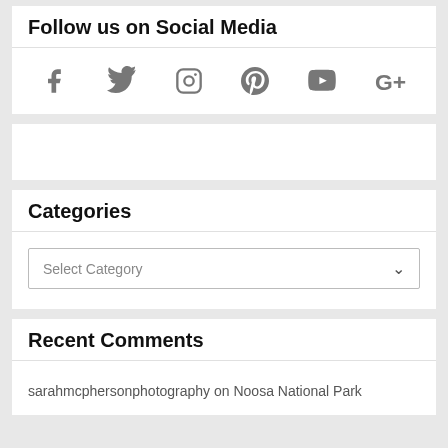Follow us on Social Media
[Figure (infographic): Row of 6 social media icons: Facebook, Twitter, Instagram, Pinterest, YouTube, Google+]
Categories
Select Category
Recent Comments
sarahmcphersonphotography on Noosa National Park